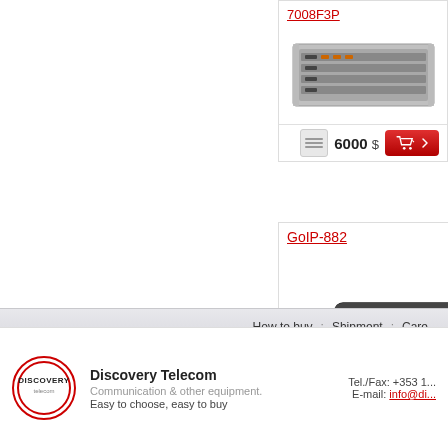[Figure (photo): Product card for 7008F3P showing rack-mount telecom device, price 6000 $]
[Figure (photo): Product card for 7008F6P partially visible on right edge]
[Figure (photo): Product card for GoIP-882 showing modem/gateway device, price 507 $]
How to buy : Shipment : Care
[Figure (logo): Discovery Telecom logo - circular logo with company name]
Discovery Telecom
Communication & other equipment.
Easy to choose, easy to buy
Tel./Fax: +353 1...
E-mail: info@di...